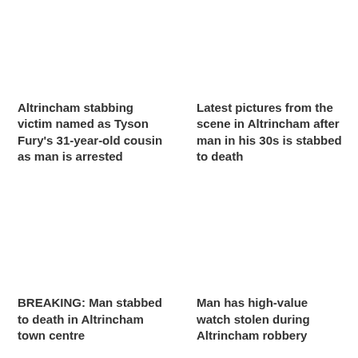Altrincham stabbing victim named as Tyson Fury's 31-year-old cousin as man is arrested
Latest pictures from the scene in Altrincham after man in his 30s is stabbed to death
BREAKING: Man stabbed to death in Altrincham town centre
Man has high-value watch stolen during Altrincham robbery